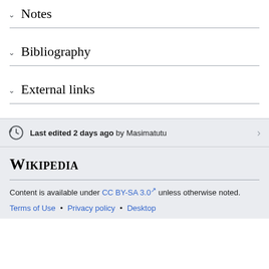Notes
Bibliography
External links
Last edited 2 days ago by Masimatutu
Wikipedia
Content is available under CC BY-SA 3.0 unless otherwise noted.
Terms of Use • Privacy policy • Desktop